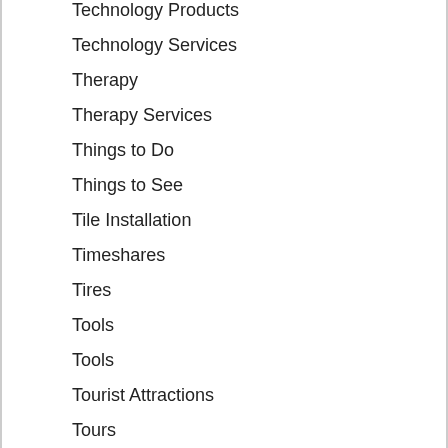Technology Products
Technology Services
Therapy
Therapy Services
Things to Do
Things to See
Tile Installation
Timeshares
Tires
Tools
Tools
Tourist Attractions
Tours
Towing
Trailers
Training